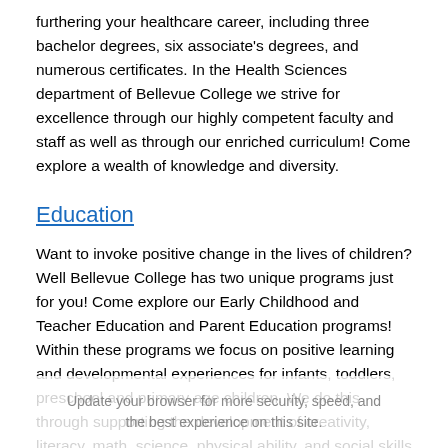furthering your healthcare career, including three bachelor degrees, six associate's degrees, and numerous certificates. In the Health Sciences department of Bellevue College we strive for excellence through our highly competent faculty and staff as well as through our enriched curriculum! Come explore a wealth of knowledge and diversity.
Education
Want to invoke positive change in the lives of children? Well Bellevue College has two unique programs just for you! Come explore our Early Childhood and Teacher Education and Parent Education programs! Within these programs we focus on positive learning and developmental experiences for infants, toddlers, preschool and primary age children. We do this through supporting the development of creativity, literacy, math, science, physical ability, and social skills in young children. Children are our future so let's be their guiding light and the best experience on this site.